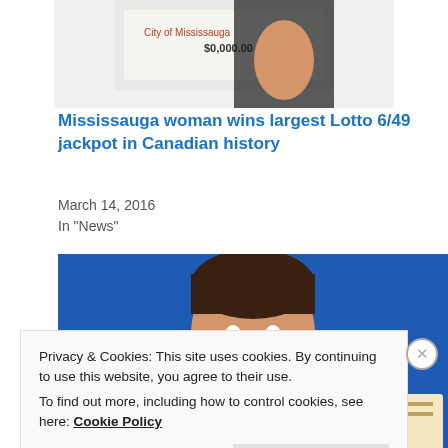[Figure (photo): Partial image at top showing a person holding a large ceremonial cheque, cropped to show only the bottom portion.]
Mississauga woman wins largest Lotto 6/49 jackpot in Canadian history
March 14, 2016
In "News"
[Figure (photo): A smiling man photographed against a blue background, holding what appears to be a cheque or certificate at the right edge.]
Privacy & Cookies: This site uses cookies. By continuing to use this website, you agree to their use.
To find out more, including how to control cookies, see here:
Cookie Policy

Close and accept